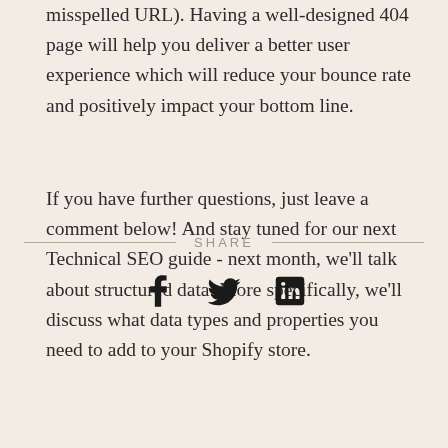misspelled URL). Having a well-designed 404 page will help you deliver a better user experience which will reduce your bounce rate and positively impact your bottom line.
If you have further questions, just leave a comment below! And stay tuned for our next Technical SEO guide - next month, we'll talk about structured data. More specifically, we'll discuss what data types and properties you need to add to your Shopify store.
[Figure (infographic): SHARE divider with Facebook, Twitter, and LinkedIn social media icons below]